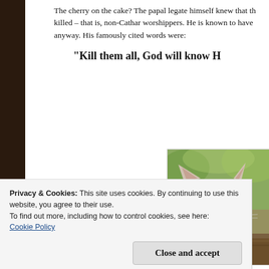The cherry on the cake? The papal legate himself knew that the killed – that is, non-Cathar worshippers. He is known to have anyway. His famously cited words were:
“Kill them all, God will know H
[Figure (photo): A grumpy-looking cat (Grumpy Cat) peeking over a log in an outdoor setting with blurred green background]
Privacy & Cookies: This site uses cookies. By continuing to use this website, you agree to their use.
To find out more, including how to control cookies, see here:
Cookie Policy
Close and accept